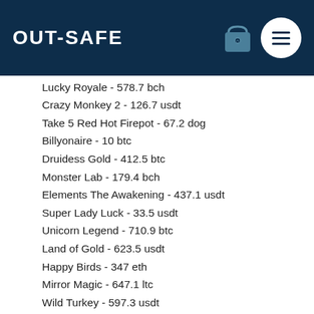OUT-SAFE
Lucky Royale - 578.7 bch
Crazy Monkey 2 - 126.7 usdt
Take 5 Red Hot Firepot - 67.2 dog
Billyonaire - 10 btc
Druidess Gold - 412.5 btc
Monster Lab - 179.4 bch
Elements The Awakening - 437.1 usdt
Super Lady Luck - 33.5 usdt
Unicorn Legend - 710.9 btc
Land of Gold - 623.5 usdt
Happy Birds - 347 eth
Mirror Magic - 647.1 ltc
Wild Turkey - 597.3 usdt
Play Bitcoin Slots and Casino Games Online: